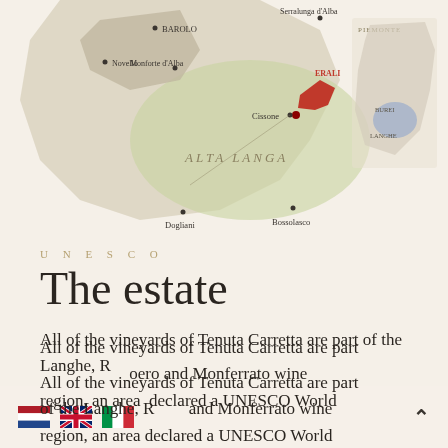[Figure (map): Map of Piedmont wine regions showing Alta Langa area with locations including Barolo, Serralunga d'Alba, Novello, Monforte d'Alba, Cissone (marked in red as Erali), Dogliani, Bossolasco. Inset map of Piemonte region showing Burei and Langhe areas.]
UNESCO
The estate
All of the vineyards of Tenuta Carretta are part of the Langhe, Roero and Monferrato wine region, an area declared a UNESCO World